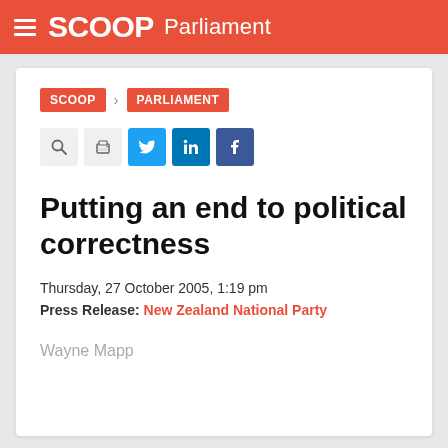SCOOP Parliament
SCOOP > PARLIAMENT
[Figure (other): Row of social and action icon buttons: search, print, Twitter, LinkedIn, Facebook]
Putting an end to political correctness
Thursday, 27 October 2005, 1:19 pm
Press Release: New Zealand National Party
Wayne Mapp